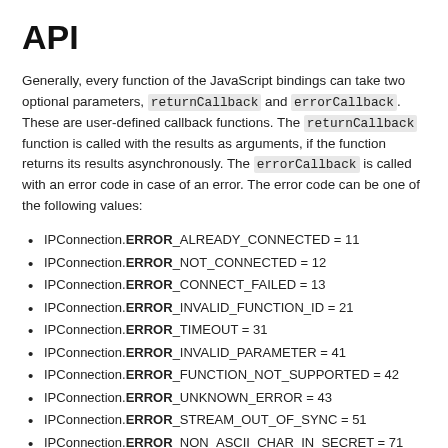API
Generally, every function of the JavaScript bindings can take two optional parameters, returnCallback and errorCallback. These are user-defined callback functions. The returnCallback function is called with the results as arguments, if the function returns its results asynchronously. The errorCallback is called with an error code in case of an error. The error code can be one of the following values:
IPConnection.ERROR_ALREADY_CONNECTED = 11
IPConnection.ERROR_NOT_CONNECTED = 12
IPConnection.ERROR_CONNECT_FAILED = 13
IPConnection.ERROR_INVALID_FUNCTION_ID = 21
IPConnection.ERROR_TIMEOUT = 31
IPConnection.ERROR_INVALID_PARAMETER = 41
IPConnection.ERROR_FUNCTION_NOT_SUPPORTED = 42
IPConnection.ERROR_UNKNOWN_ERROR = 43
IPConnection.ERROR_STREAM_OUT_OF_SYNC = 51
IPConnection.ERROR_NON_ASCII_CHAR_IN_SECRET = 71
IPConnection.ERROR_WRONG_DEVICE_TYPE = 81
IPConnection.ERROR_DEVICE_REPLACED = 82